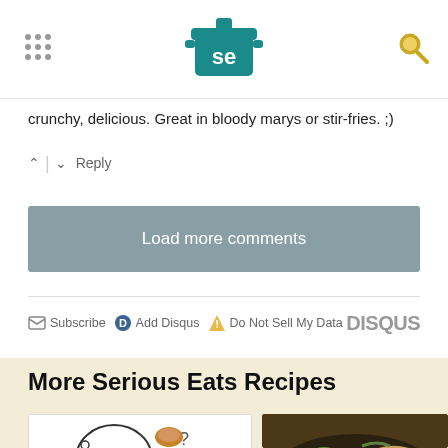Serious Eats logo and navigation
crunchy, delicious. Great in bloody marys or stir-fries. ;)
↑ | ↓  Reply
Load more comments
✉ Subscribe  ⓓ Add Disqus  ⚠ Do Not Sell My Data    DISQUS
More Serious Eats Recipes
[Figure (illustration): Cartoon illustration of a white blob character with thought bubbles showing food items including meat, cheese, and a garlic clove with question marks]
[Figure (photo): Photo of a bowl of stir-fried noodles with red chili peppers and vegetables in a dark bowl]